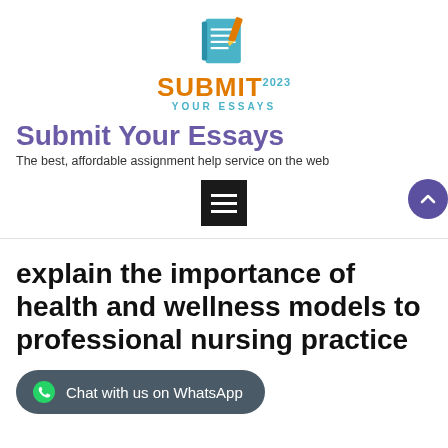[Figure (logo): Submit Your Essays logo with notebook and pencil icon above text SUBMIT YOUR ESSAYS]
Submit Your Essays
The best, affordable assignment help service on the web
[Figure (other): Hamburger menu button (three horizontal lines on dark background)]
explain the importance of health and wellness models to professional nursing practice
Chat with us on WhatsApp